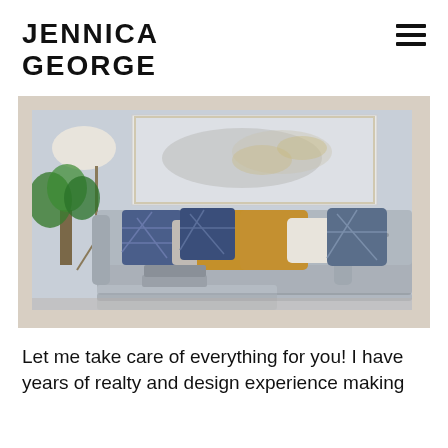JENNICA GEORGE
[Figure (photo): Interior living room photo showing a grey tufted sofa with blue geometric and mustard yellow throw pillows, abstract gold and grey wall art above, tripod floor lamp with white shade on left, green leafy plant, glass vase, and books on coffee table in foreground. Displayed on a beige/tan background mat.]
Let me take care of everything for you! I have years of realty and design experience making